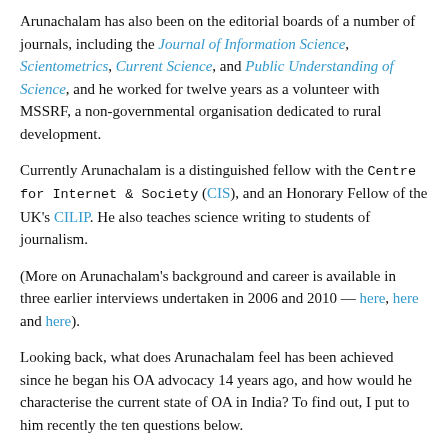Arunachalam has also been on the editorial boards of a number of journals, including the Journal of Information Science, Scientometrics, Current Science, and Public Understanding of Science, and he worked for twelve years as a volunteer with MSSRF, a non-governmental organisation dedicated to rural development.
Currently Arunachalam is a distinguished fellow with the Centre for Internet & Society (CIS), and an Honorary Fellow of the UK's CILIP. He also teaches science writing to students of journalism.
(More on Arunachalam's background and career is available in three earlier interviews undertaken in 2006 and 2010 — here, here and here).
Looking back, what does Arunachalam feel has been achieved since he began his OA advocacy 14 years ago, and how would he characterise the current state of OA in India? To find out, I put to him recently the ten questions below.
Reading his answers, a couple of things immediately stood out for me. First, I was struck by Arunachalam's insistence that Green OA is all that is required. Second, I was struck that, while he recognises that Gold OA is nevertheless an inevitable development of the open access...